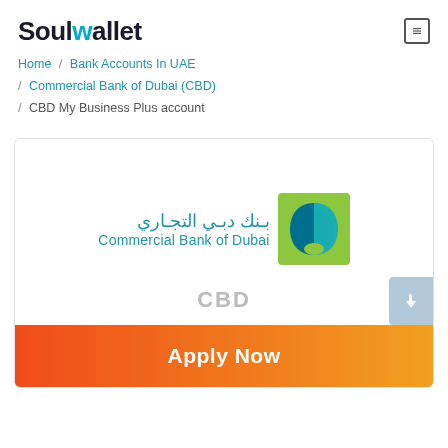SoulWallet
Home / Bank Accounts In UAE / Commercial Bank of Dubai (CBD) / CBD My Business Plus account
[Figure (logo): Commercial Bank of Dubai logo with Arabic text and green/blue arch icon]
CBD
Apply Now